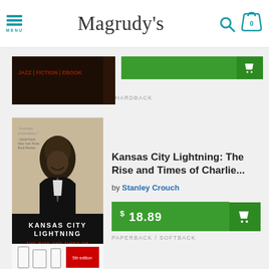Magrudy's
[Figure (screenshot): Partially visible book cover at top of page]
HARDBACK
[Figure (photo): Book cover: Kansas City Lightning - The Rise and Times of Charlie Parker by Stanley Crouch. Black and white photo of Charlie Parker smiling.]
Kansas City Lightning: The Rise and Times of Charlie...
by Stanley Crouch
$ 18.89
PAPERBACK / SOFTBACK
[Figure (photo): Partially visible book cover at bottom of page showing laboratory glassware]